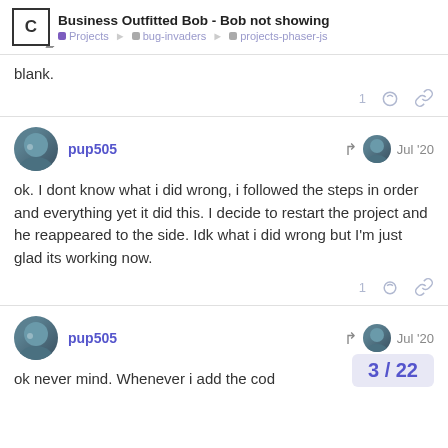Business Outfitted Bob - Bob not showing | Projects > bug-invaders > projects-phaser-js
blank.
pup505  Jul '20
ok. I dont know what i did wrong, i followed the steps in order and everything yet it did this. I decide to restart the project and he reappeared to the side. Idk what i did wrong but I'm just glad its working now.
pup505  Jul '20
ok never mind. Whenever i add the cod
3 / 22